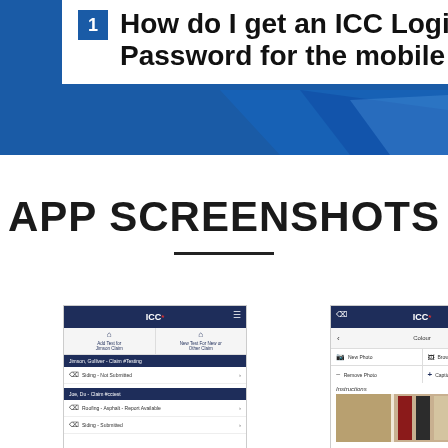How do I get an ICC Login & Password for the mobile app?
APP SCREENSHOTS
[Figure (screenshot): Mobile app screenshot showing ICC app with claim list: Jimson, Gulliver - Claim #Testing with Siding - Not Submitted; Joe, Du - Claim #cctest with Roofing - Asphalt - Report Available and Siding - Submitted]
[Figure (screenshot): Mobile app screenshot showing ICC app Colour selection screen with New Photo, Browse Photos, Remove Photo, and Caption Photo options, plus Instructions section with colour swatch image]